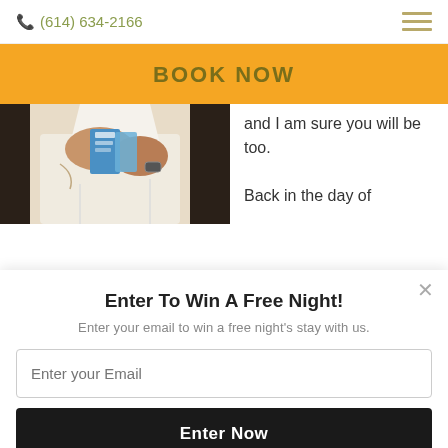📞 (614) 634-2166
BOOK NOW
[Figure (photo): Person in white shirt holding pamphlets/brochures, partial view of hands and torso]
and I am sure you will be too.

Back in the day of
Enter To Win A Free Night!
Enter your email to win a free night's stay with us.
Enter your Email
Enter Now